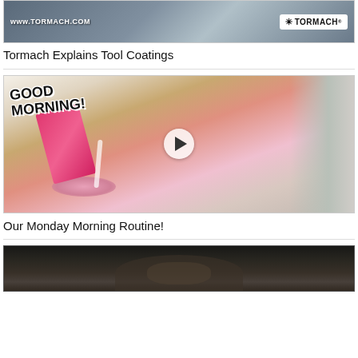[Figure (screenshot): Thumbnail image for Tormach tool coatings video showing www.tormach.com text and Tormach logo]
Tormach Explains Tool Coatings
[Figure (screenshot): Thumbnail image for Monday Morning Routine video showing a child pouring cereal with 'GOOD MORNING!' text overlay and a play button]
Our Monday Morning Routine!
[Figure (screenshot): Thumbnail image partially visible showing a dark scene with a person]